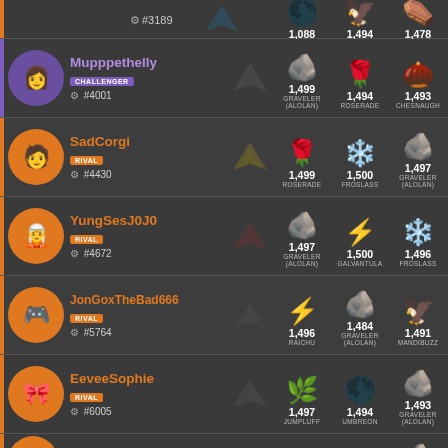#3189 | UMBREON 1,088 | MANDIBUZZ 1,494 | COFAGRIGU 1,478
Mupppethelly | CHALLENGER | #4001 | GRAVELER (ALOLAN) 1,499 | ROSERADE 1,494 | CHESNAUGHT 1,493
SadCorgi | RIVAL | #4430 | ROSERADE 1,499 | FROSLASS 1,500 | GRAVELER (ALOLAN) 1,497
YungSesJ0J0 | RIVAL | #4672 | GRAVELER (ALOLAN) 1,497 | GALVANTULA 1,500 | FROSLASS 1,496
JonGoxTheBad666 | RIVAL | #5764 | RAICHU 1,496 | GRAVELER (ALOLAN) 1,484 | MANDIBUZZ 1,491
EeveeSophie | RIVAL | #6005 | JUMPLUFF 1,497 | UMBREON 1,494 | GRAVELER (ALOLAN) 1,493
TheVibeWave | RIVAL | 1,497